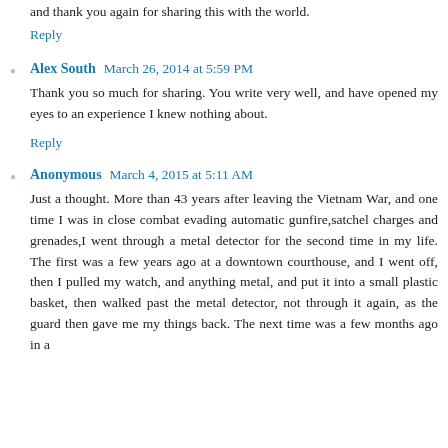and thank you again for sharing this with the world.
Reply
Alex South  March 26, 2014 at 5:59 PM
Thank you so much for sharing. You write very well, and have opened my eyes to an experience I knew nothing about.
Reply
Anonymous  March 4, 2015 at 5:11 AM
Just a thought. More than 43 years after leaving the Vietnam War, and one time I was in close combat evading automatic gunfire,satchel charges and grenades,I went through a metal detector for the second time in my life. The first was a few years ago at a downtown courthouse, and I went off, then I pulled my watch, and anything metal, and put it into a small plastic basket, then walked past the metal detector, not through it again, as the guard then gave me my things back. The next time was a few months ago in a